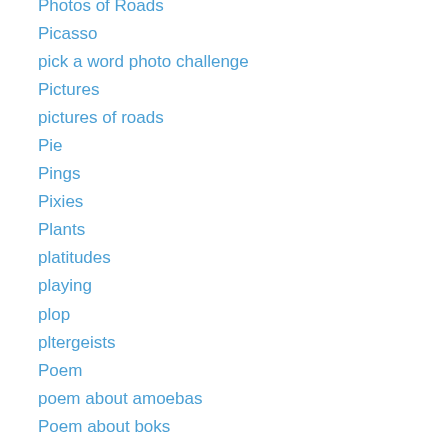Photos of Roads
Picasso
pick a word photo challenge
Pictures
pictures of roads
Pie
Pings
Pixies
Plants
platitudes
playing
plop
pltergeists
Poem
poem about amoebas
Poem about boks
poem about books
poem about boring people
poem about childhood
poem about computers